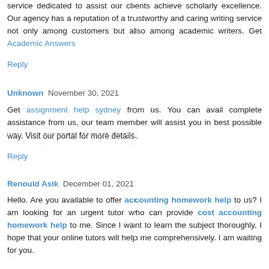service dedicated to assist our clients achieve scholarly excellence. Our agency has a reputation of a trustworthy and caring writing service not only among customers but also among academic writers. Get Academic Answers
Reply
Unknown  November 30, 2021
Get assignment help sydney from us. You can avail complete assistance from us, our team member will assist you in best possible way. Visit our portal for more details.
Reply
Renould Asik  December 01, 2021
Hello. Are you available to offer accounting homework help to us? I am looking for an urgent tutor who can provide cost accounting homework help to me. Since I want to learn the subject thoroughly, I hope that your online tutors will help me comprehensively. I am waiting for you.